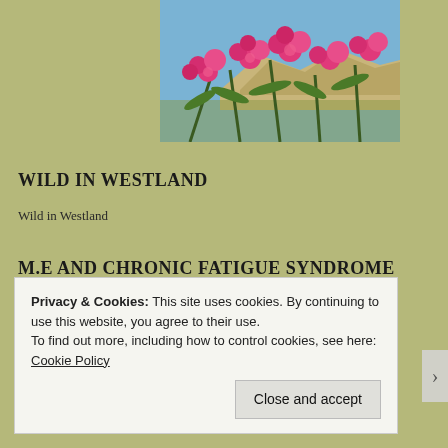[Figure (photo): Photo of bright pink flowering oleander bushes with a rocky hill or ancient ruins visible in the background under a blue sky.]
WILD IN WESTLAND
Wild in Westland
M.E AND CHRONIC FATIGUE SYNDROME
10 reasons to drum for your health
Privacy & Cookies: This site uses cookies. By continuing to use this website, you agree to their use.
To find out more, including how to control cookies, see here: Cookie Policy